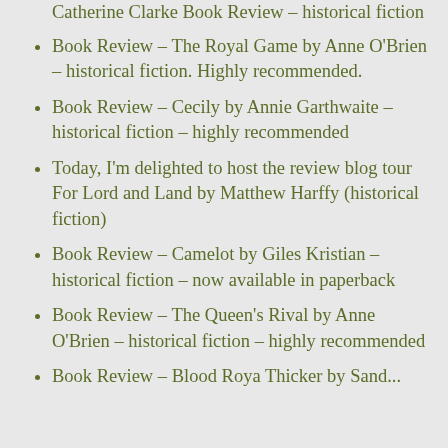Catherine Clarke Book Review – historical fiction
Book Review – The Royal Game by Anne O'Brien – historical fiction. Highly recommended.
Book Review – Cecily by Annie Garthwaite – historical fiction – highly recommended
Today, I'm delighted to host the review blog tour For Lord and Land by Matthew Harffy (historical fiction)
Book Review – Camelot by Giles Kristian – historical fiction – now available in paperback
Book Review – The Queen's Rival by Anne O'Brien – historical fiction – highly recommended
Book Review – Blood Roya Thicker by Sand...